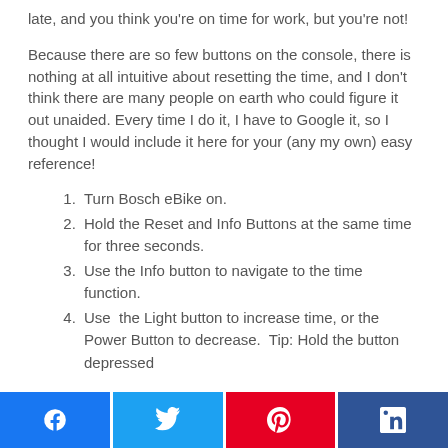late, and you think you're on time for work, but you're not!
Because there are so few buttons on the console, there is nothing at all intuitive about resetting the time, and I don't think there are many people on earth who could figure it out unaided. Every time I do it, I have to Google it, so I thought I would include it here for your (any my own) easy reference!
Turn Bosch eBike on.
Hold the Reset and Info Buttons at the same time for three seconds.
Use the Info button to navigate to the time function.
Use  the Light button to increase time, or the Power Button to decrease.  Tip: Hold the button depressed